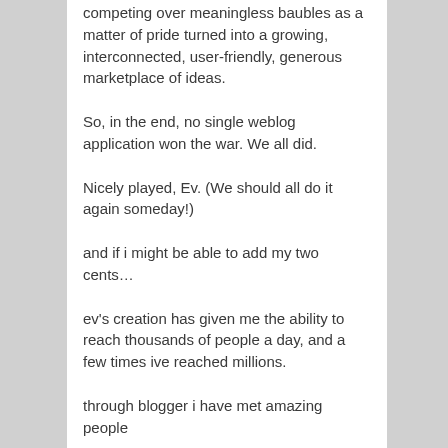competing over meaningless baubles as a matter of pride turned into a growing, interconnected, user-friendly, generous marketplace of ideas.
So, in the end, no single weblog application won the war. We all did.
Nicely played, Ev. (We should all do it again someday!)
and if i might be able to add my two cents…
ev's creation has given me the ability to reach thousands of people a day, and a few times ive reached millions.
through blogger i have met amazing people